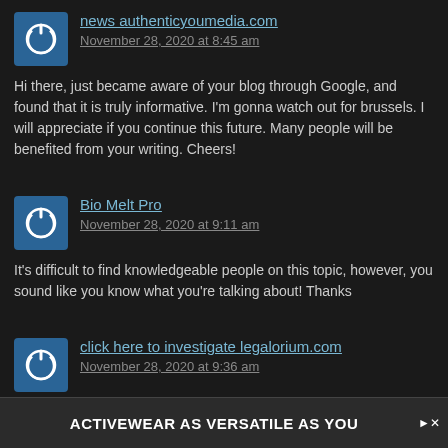[Figure (other): User avatar icon - blue square with power button symbol]
news authenticyoumedia.com
November 28, 2020 at 8:45 am
Hi there, just became aware of your blog through Google, and found that it is truly informative. I'm gonna watch out for brussels. I will appreciate if you continue this future. Many people will be benefited from your writing. Cheers!
[Figure (other): User avatar icon - blue square with power button symbol]
Bio Melt Pro
November 28, 2020 at 9:11 am
It's difficult to find knowledgeable people on this topic, however, you sound like you know what you're talking about! Thanks
[Figure (other): User avatar icon - blue square with power button symbol]
click here to investigate legalorium.com
November 28, 2020 at 9:36 am
Attractive section of content. I just stumbled upon your weblog accession capital to assert that I get in fact enjoyed account your blog posts. Any way I will be subscribing ently rapidly.
Close X
ACTIVEWEAR AS VERSATILE AS YOU